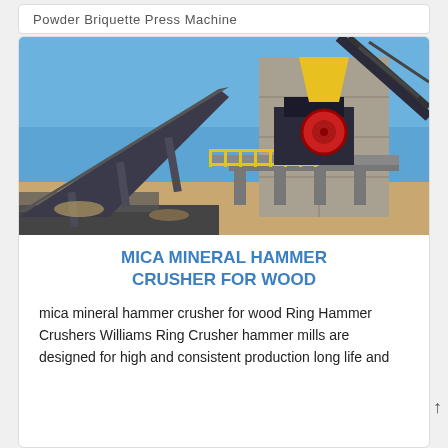Powder Briquette Press Machine
[Figure (photo): Outdoor industrial heavy-duty hammer crusher / mineral processing plant installation. Large concrete structure with yellow safety railings, conveyor belts, crusher machinery with red circular element, under clear blue sky. Rocky ground visible in foreground.]
MICA MINERAL HAMMER CRUSHER FOR WOOD
mica mineral hammer crusher for wood Ring Hammer Crushers Williams Ring Crusher hammer mills are designed for high and consistent production long life and